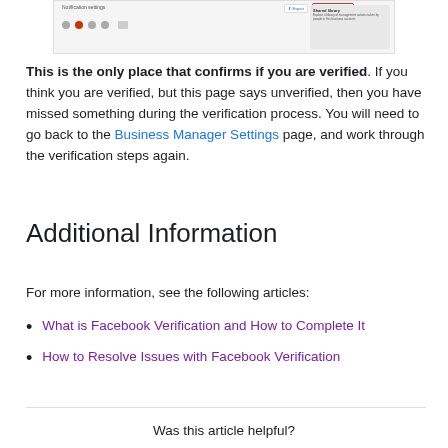[Figure (screenshot): Screenshot of a Facebook Business Manager interface showing a notification settings panel with icons and a highlighted red-bordered box, and a shared library panel on the right.]
This is the only place that confirms if you are verified. If you think you are verified, but this page says unverified, then you have missed something during the verification process. You will need to go back to the Business Manager Settings page, and work through the verification steps again.
Additional Information
For more information, see the following articles:
What is Facebook Verification and How to Complete It
How to Resolve Issues with Facebook Verification
Was this article helpful?